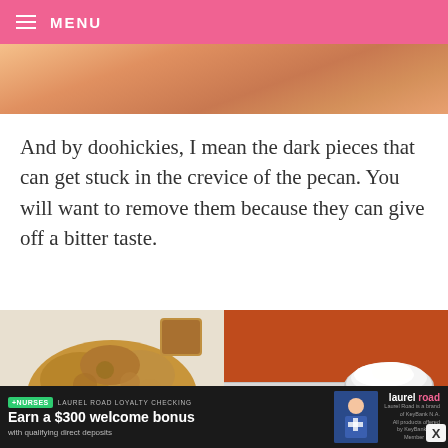MENU
[Figure (photo): Close-up photo of pecan or dough texture in warm tan/orange tones]
And by doohickies, I mean the dark pieces that can get stuck in the crevice of the pecan. You will want to remove them because they can give off a bitter taste.
[Figure (photo): Two food photos side by side: left shows brown sugar in a white bowl, right shows a spoonful of white powder/flour on an orange background]
[Figure (screenshot): Advertisement banner: +NURSES LAUREL ROAD LOYALTY CHECKING. Earn a $300 welcome bonus with qualifying direct deposits. laurel road logo.]